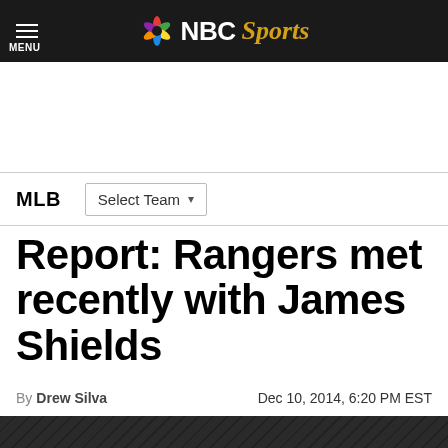NBC Sports
MLB  Select Team
Report: Rangers met recently with James Shields
By Drew Silva   Dec 10, 2014, 6:20 PM EST
[Figure (photo): Dark photo strip at bottom of page, partial view of article image]